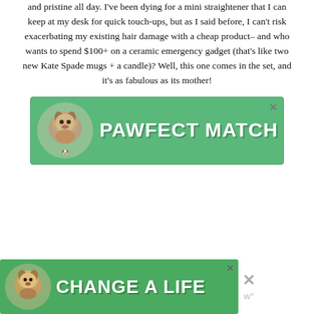and pristine all day. I've been dying for a mini straightener that I can keep at my desk for quick touch-ups, but as I said before, I can't risk exacerbating my existing hair damage with a cheap product– and who wants to spend $100+ on a ceramic emergency gadget (that's like two new Kate Spade mugs + a candle)? Well, this one comes in the set, and it's as fabulous as its mother!
[Figure (other): Advertisement banner for 'PAWFECT MATCH' — green background with a dog photo on the left and bold white uppercase text on the right, with a close (X) button in the top right corner.]
[Figure (other): Advertisement banner for 'CHANGE A LIFE' — green background with a dog photo on the left and bold white uppercase text on the right, with a close (X) button. A large X icon and a brand watermark icon appear to the right of the banner.]